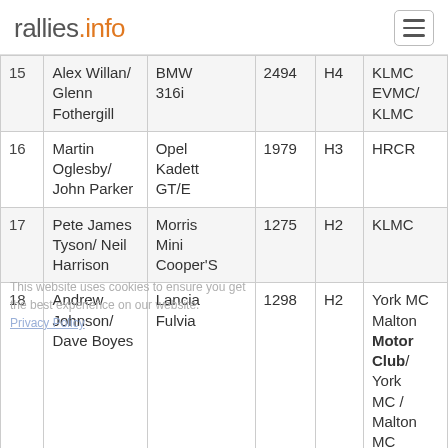rallies.info
| # | Crew | Car | CC | Class | Club |
| --- | --- | --- | --- | --- | --- |
| 15 | Alex Willan/ Glenn Fothergill | BMW 316i | 2494 | H4 | KLMC EVMC/ KLMC |
| 16 | Martin Oglesby/ John Parker | Opel Kadett GT/E | 1979 | H3 | HRCR |
| 17 | Pete James Tyson/ Neil Harrison | Morris Mini Cooper'S | 1275 | H2 | KLMC |
| 18 | Andrew Johnson/ Dave Boyes | Lancia Fulvia | 1298 | H2 | York MC Malton Motor Club/ York MC / Malton MC |
|  |  |  |  |  |  |
| 19 | Rod Hanson/ | MG Maestro | 2000 | H4 | HRCR |